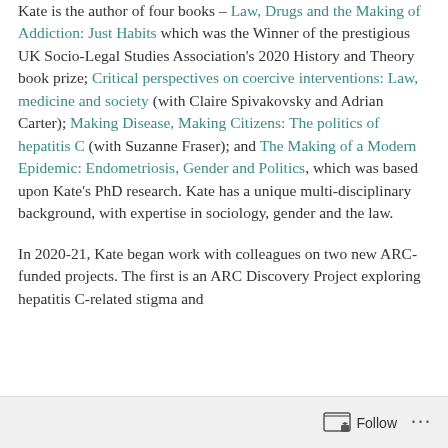Kate is the author of four books – Law, Drugs and the Making of Addiction: Just Habits which was the Winner of the prestigious UK Socio-Legal Studies Association's 2020 History and Theory book prize; Critical perspectives on coercive interventions: Law, medicine and society (with Claire Spivakovsky and Adrian Carter); Making Disease, Making Citizens: The politics of hepatitis C (with Suzanne Fraser); and The Making of a Modern Epidemic: Endometriosis, Gender and Politics, which was based upon Kate's PhD research. Kate has a unique multi-disciplinary background, with expertise in sociology, gender and the law.

In 2020-21, Kate began work with colleagues on two new ARC-funded projects. The first is an ARC Discovery Project exploring hepatitis C-related stigma and...
Follow